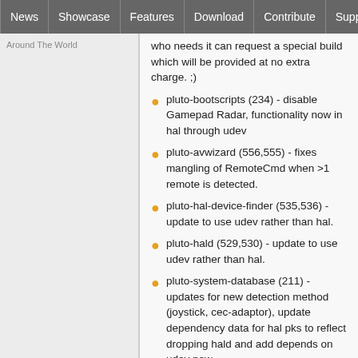News | Showcase | Features | Download | Contribute | Support
Around The World
who needs it can request a special build which will be provided at no extra charge. ;)
pluto-bootscripts (234) - disable Gamepad Radar, functionality now in hal through udev
pluto-avwizard (556,555) - fixes mangling of RemoteCmd when >1 remote is detected.
pluto-hal-device-finder (535,536) - update to use udev rather than hal.
pluto-hald (529,530) - update to use udev rather than hal.
pluto-system-database (211) - updates for new detection method (joystick, cec-adaptor), update dependency data for hal pks to reflect dropping hald and add depends on udev now.
Update 30219